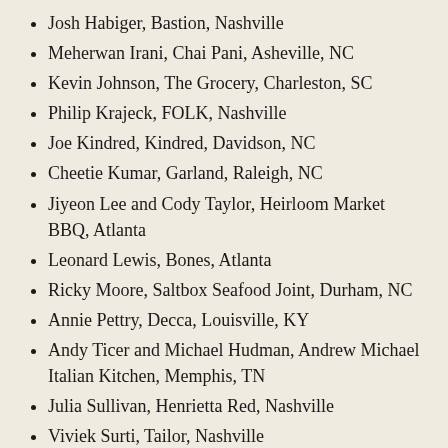Josh Habiger, Bastion, Nashville
Meherwan Irani, Chai Pani, Asheville, NC
Kevin Johnson, The Grocery, Charleston, SC
Philip Krajeck, FOLK, Nashville
Joe Kindred, Kindred, Davidson, NC
Cheetie Kumar, Garland, Raleigh, NC
Jiyeon Lee and Cody Taylor, Heirloom Market BBQ, Atlanta
Leonard Lewis, Bones, Atlanta
Ricky Moore, Saltbox Seafood Joint, Durham, NC
Annie Pettry, Decca, Louisville, KY
Andy Ticer and Michael Hudman, Andrew Michael Italian Kitchen, Memphis, TN
Julia Sullivan, Henrietta Red, Nashville
Viviek Surti, Tailor, Nashville